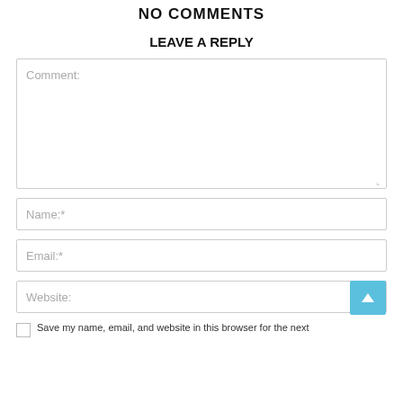NO COMMENTS
LEAVE A REPLY
Comment:
Name:*
Email:*
Website:
Save my name, email, and website in this browser for the next